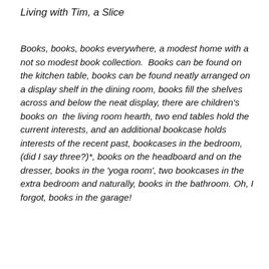Living with Tim, a Slice
Books, books, books everywhere, a modest home with a  not so modest book collection.  Books can be found on the kitchen table, books can be found neatly arranged on a display shelf in the dining room, books fill the shelves across and below the neat display, there are children's books on  the living room hearth, two end tables hold the current interests, and an additional bookcase holds interests of the recent past, bookcases in the bedroom, (did I say three?)*, books on the headboard and on the dresser, books in the 'yoga room', two bookcases in the extra bedroom and naturally, books in the bathroom. Oh, I forgot, books in the garage!